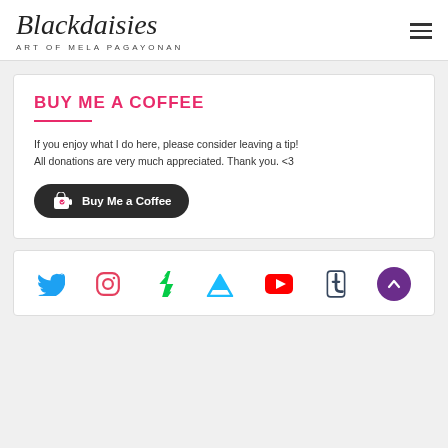Blackdaisies — ART OF MELA PAGAYONAN
BUY ME A COFFEE
If you enjoy what I do here, please consider leaving a tip! All donations are very much appreciated. Thank you. <3
[Figure (other): Buy Me a Coffee dark rounded button with coffee cup icon and heart]
[Figure (other): Social media icons row: Twitter (blue bird), Instagram (pink camera outline), DeviantArt (green lightning), ArtStation (cyan triangle), YouTube (red play button), Tumblr (dark teal t), and a purple back-to-top arrow button]